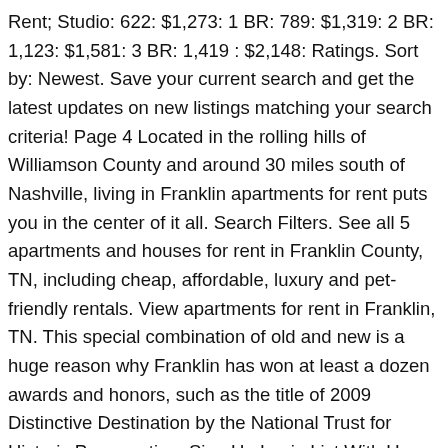Rent; Studio: 622: $1,273: 1 BR: 789: $1,319: 2 BR: 1,123: $1,581: 3 BR: 1,419 : $2,148: Ratings. Sort by: Newest. Save your current search and get the latest updates on new listings matching your search criteria! Page 4 Located in the rolling hills of Williamson County and around 30 miles south of Nashville, living in Franklin apartments for rent puts you in the center of it all. Search Filters. See all 5 apartments and houses for rent in Franklin County, TN, including cheap, affordable, luxury and pet-friendly rentals. View apartments for rent in Franklin, TN. This special combination of old and new is a huge reason why Franklin has won at least a dozen awards and honors, such as the title of 2009 Distinctive Destination by the National Trust for Historic Preservation. Sign Up Login List With Us. Finding apartments for rent in Franklin means finding a place you can call home. View apartments for rent in Franklin, TN. There are 1 Apartments for rent in Franklin County, TN Point2 offers a lot of extra information about apartments in Franklin County, TN, from property type and square footage to area demographics and amenities. Finding apartments for rent in